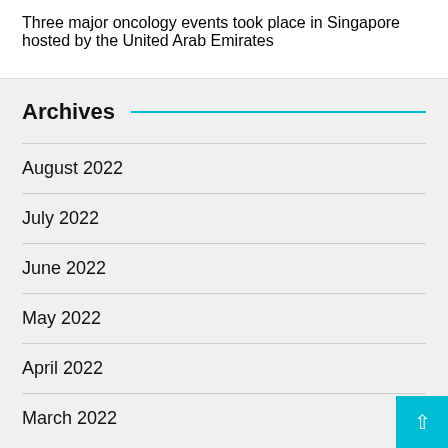Three major oncology events took place in Singapore hosted by the United Arab Emirates
Archives
August 2022
July 2022
June 2022
May 2022
April 2022
March 2022